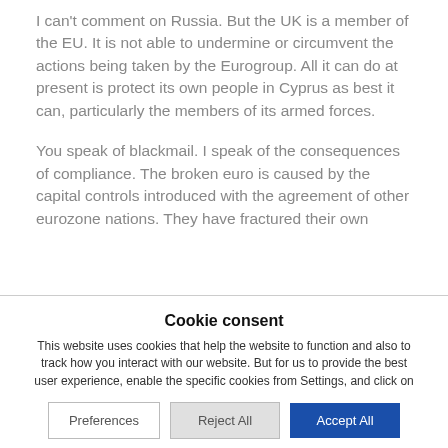I can't comment on Russia. But the UK is a member of the EU. It is not able to undermine or circumvent the actions being taken by the Eurogroup. All it can do at present is protect its own people in Cyprus as best it can, particularly the members of its armed forces.
You speak of blackmail. I speak of the consequences of compliance. The broken euro is caused by the capital controls introduced with the agreement of other eurozone nations. They have fractured their own
Cookie consent
This website uses cookies that help the website to function and also to track how you interact with our website. But for us to provide the best user experience, enable the specific cookies from Settings, and click on Accept.